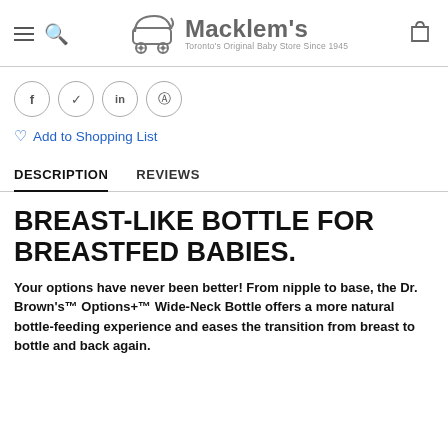Macklem's — Toronto's Original Baby Store Since 1945
[Figure (logo): Macklem's baby store logo with baby carriage icon and text 'Macklem's Toronto's Original Baby Store Since 1945']
f  in  (social share icons)
Add to Shopping List
DESCRIPTION   REVIEWS
BREAST-LIKE BOTTLE FOR BREASTFED BABIES.
Your options have never been better! From nipple to base, the Dr. Brown's™ Options+™ Wide-Neck Bottle offers a more natural bottle-feeding experience and eases the transition from breast to bottle and back again.